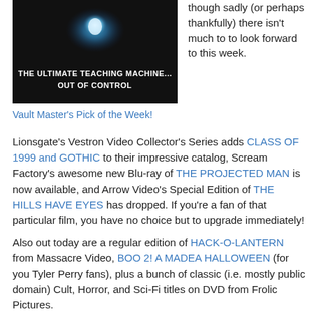[Figure (photo): DVD/Blu-ray box cover with text 'THE ULTIMATE TEACHING MACHINE... OUT OF CONTROL' on dark background with glowing orb]
though sadly (or perhaps thankfully) there isn't much to to look forward to this week.
Vault Master's Pick of the Week!
Lionsgate's Vestron Video Collector's Series adds CLASS OF 1999 and GOTHIC to their impressive catalog, Scream Factory's awesome new Blu-ray of THE PROJECTED MAN is now available, and Arrow Video's Special Edition of THE HILLS HAVE EYES has dropped. If you're a fan of that particular film, you have no choice but to upgrade immediately!

Also out today are a regular edition of HACK-O-LANTERN from Massacre Video, BOO 2! A MADEA HALLOWEEN (for you Tyler Perry fans), plus a bunch of classic (i.e. mostly public domain) Cult, Horror, and Sci-Fi titles on DVD from Frolic Pictures.

To see the full listing of this week's sparse offerings on DVD & Blu-ray, scroll on down!